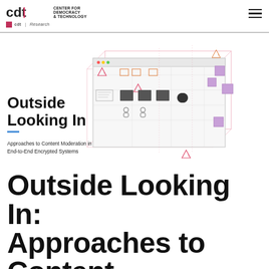CDT | Center for Democracy & Technology | CDT Research
[Figure (illustration): Isometric illustration of layered browser/application windows with warning icons, network elements, and UI components in red, purple, and grey tones representing content moderation in encrypted systems]
Outside Looking In
Approaches to Content Moderation in End-to-End Encrypted Systems
Outside Looking In: Approaches to Content Moderation in End-to-End